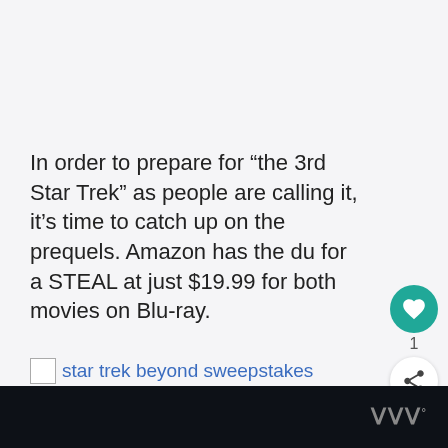In order to prepare for “the 3rd Star Trek” as people are calling it, it’s time to catch up on the prequels. Amazon has the du for a STEAL at just $19.99 for both movies on Blu-ray.
star trek beyond sweepstakes
[Figure (screenshot): Dark footer bar with stylized 'W' logo and superscript degree symbol on the right side]